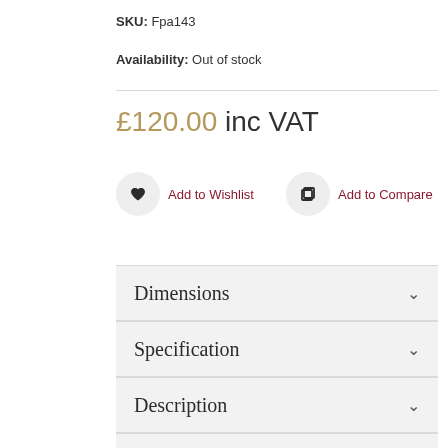SKU: Fpa143
Availability: Out of stock
£120.00 inc VAT
Add to Wishlist
Add to Compare
Dimensions
Specification
Description
Product Tags